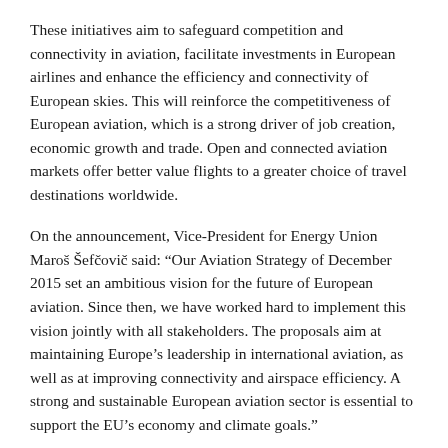These initiatives aim to safeguard competition and connectivity in aviation, facilitate investments in European airlines and enhance the efficiency and connectivity of European skies. This will reinforce the competitiveness of European aviation, which is a strong driver of job creation, economic growth and trade. Open and connected aviation markets offer better value flights to a greater choice of travel destinations worldwide.
On the announcement, Vice-President for Energy Union Maroš Šefčovič said: “Our Aviation Strategy of December 2015 set an ambitious vision for the future of European aviation. Since then, we have worked hard to implement this vision jointly with all stakeholders. The proposals aim at maintaining Europe’s leadership in international aviation, as well as at improving connectivity and airspace efficiency. A strong and sustainable European aviation sector is essential to support the EU’s economy and climate goals.”